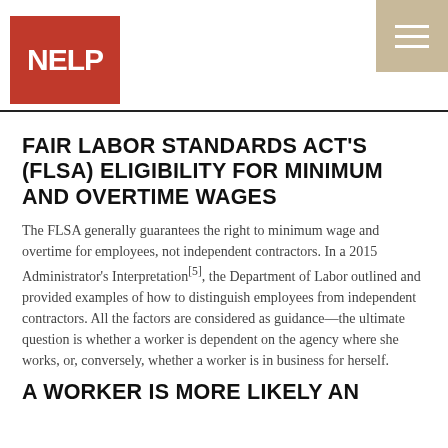NELP
FAIR LABOR STANDARDS ACT'S (FLSA) ELIGIBILITY FOR MINIMUM AND OVERTIME WAGES
The FLSA generally guarantees the right to minimum wage and overtime for employees, not independent contractors. In a 2015 Administrator's Interpretation[5], the Department of Labor outlined and provided examples of how to distinguish employees from independent contractors. All the factors are considered as guidance—the ultimate question is whether a worker is dependent on the agency where she works, or, conversely, whether a worker is in business for herself.
A WORKER IS MORE LIKELY AN